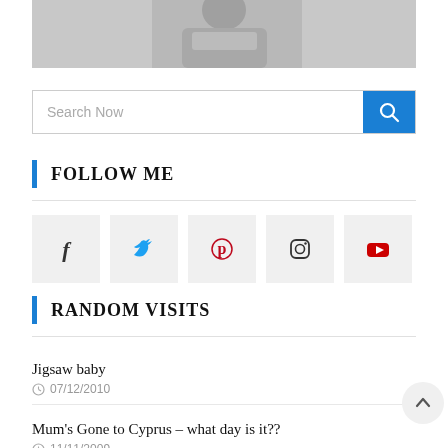[Figure (photo): Partial image of a person in a suit holding papers, cropped at the top of the page]
Search Now
FOLLOW ME
[Figure (infographic): Five social media icon buttons: Facebook (f), Twitter (bird), Pinterest (p), Instagram (camera), YouTube (play button)]
RANDOM VISITS
Jigsaw baby
07/12/2010
Mum's Gone to Cyprus – what day is it??
11/11/2009